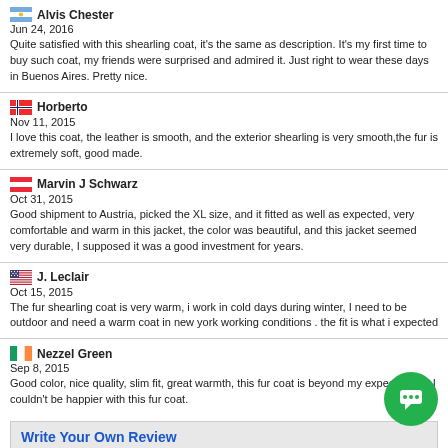Alvis Chester
Jun 24, 2016
Quite satisfied with this shearling coat, it's the same as description. It's my first time to buy such coat, my friends were surprised and admired it. Just right to wear these days in Buenos Aires. Pretty nice.
Horberto
Nov 11, 2015
I love this coat, the leather is smooth, and the exterior shearling is very smooth,the fur is extremely soft, good made.
Marvin J Schwarz
Oct 31, 2015
Good shipment to Austria, picked the XL size, and it fitted as well as expected, very comfortable and warm in this jacket, the color was beautiful, and this jacket seemed very durable, I supposed it was a good investment for years.
J. Leclair
Oct 15, 2015
The fur shearling coat is very warm, i work in cold days during winter, I need to be outdoor and need a warm coat in new york working conditions . the fit is what i expected
Nezzel Green
Sep 8, 2015
Good color, nice quality, slim fit, great warmth, this fur coat is beyond my expectations, I couldn't be happier with this fur coat.
Write Your Own Review
Nickname *
Summary of Your Review *